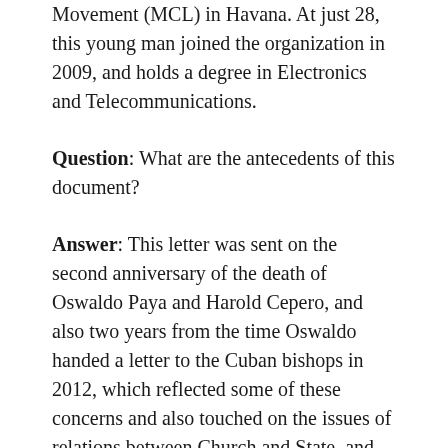Movement (MCL) in Havana. At just 28, this young man joined the organization in 2009, and holds a degree in Electronics and Telecommunications.
Question: What are the antecedents of this document?
Answer: This letter was sent on the second anniversary of the death of Oswaldo Paya and Harold Cepero, and also two years from the time Oswaldo handed a letter to the Cuban bishops in 2012, which reflected some of these concerns and also touched on the issues of relations between Church and State, and Church and Society. These ideas are still dormant and still a source of concern to us, so